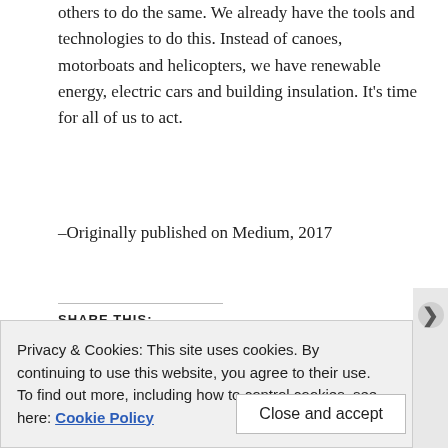others to do the same. We already have the tools and technologies to do this. Instead of canoes, motorboats and helicopters, we have renewable energy, electric cars and building insulation. It's time for all of us to act.
–Originally published on Medium, 2017
SHARE THIS:
Privacy & Cookies: This site uses cookies. By continuing to use this website, you agree to their use.
To find out more, including how to control cookies, see here: Cookie Policy